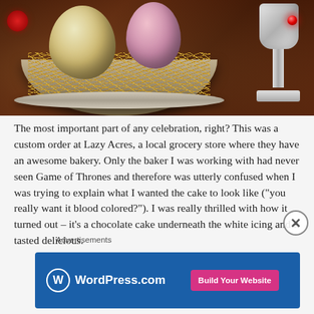[Figure (photo): Photo of crocheted or decorative eggs in a nest/bowl with hay-like material, with a metallic goblet with red gem visible on the right side]
The most important part of any celebration, right? This was a custom order at Lazy Acres, a local grocery store where they have an awesome bakery. Only the baker I was working with had never seen Game of Thrones and therefore was utterly confused when I was trying to explain what I wanted the cake to look like (“you really want it blood colored?”). I was really thrilled with how it turned out – it’s a chocolate cake underneath the white icing and it tasted delicious.
Advertisements
[Figure (screenshot): WordPress.com advertisement banner with blue background, WordPress logo, and 'Build Your Website' pink button]